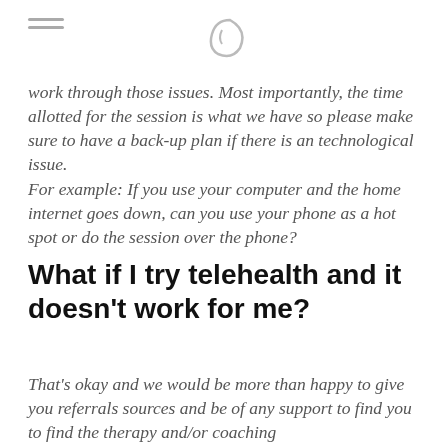work through those issues.  Most importantly, the time allotted for the session is what we have so please make sure to have a  back-up plan if there is an technological issue.
For example: If you use your computer and the home internet goes down, can you use your phone as a hot spot or do the session over the phone?
What if I try telehealth and it doesn't work for me?
That's okay and we would be more than happy to give you referrals sources and be of any support to find you to find the therapy and/or coaching